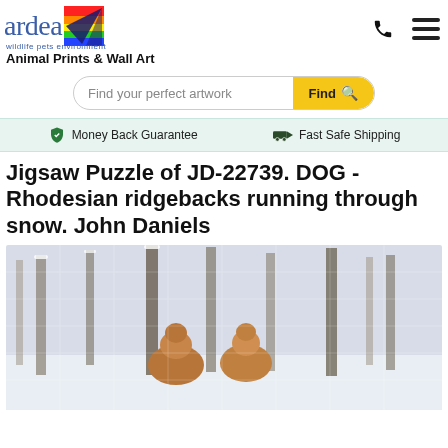[Figure (logo): Ardea wildlife pets environment logo with rainbow-colored bird graphic and blue text]
Animal Prints & Wall Art
Find your perfect artwork
Money Back Guarantee
Fast Safe Shipping
Jigsaw Puzzle of JD-22739. DOG - Rhodesian ridgebacks running through snow. John Daniels
[Figure (photo): Jigsaw puzzle image of two Rhodesian ridgeback dogs running through snow in a winter forest]